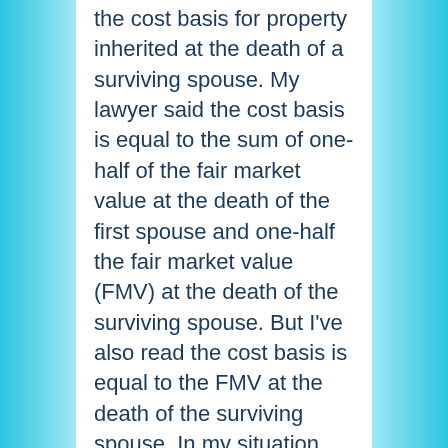the cost basis for property inherited at the death of a surviving spouse. My lawyer said the cost basis is equal to the sum of one-half of the fair market value at the death of the first spouse and one-half the fair market value (FMV) at the death of the surviving spouse. But I've also read the cost basis is equal to the FMV at the death of the surviving spouse. In my situation, the property is held in a